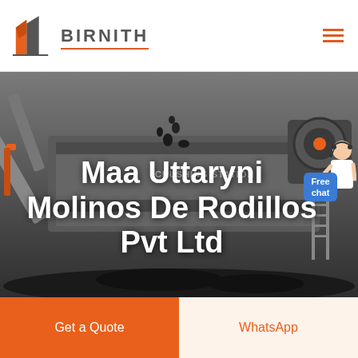[Figure (logo): Birnith company logo with orange building/construction icon and brand name BIRNITH in grey letters with orange underline]
[Figure (photo): Industrial crushing station machinery with coal/rock material being processed, dark moody background, large equipment visible with text 'CRUSHING STATION' on machine]
Maa Uttaryni Molinos De Rodillos Pvt Ltd
[Figure (illustration): Customer service agent figure in white with blue Free chat bubble button]
Get a Quote
WhatsApp